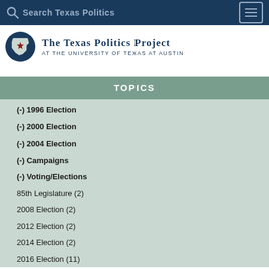Search Texas Politics
[Figure (logo): The Texas Politics Project at the University of Texas at Austin logo with circular Texas map icon]
TOPICS
(-) 1996 Election
(-) 2000 Election
(-) 2004 Election
(-) Campaigns
(-) Voting/Elections
85th Legislature (2)
2008 Election (2)
2012 Election (2)
2014 Election (2)
2016 Election (11)